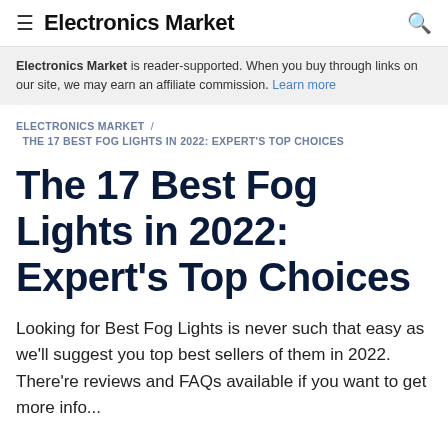Electronics Market
Electronics Market is reader-supported. When you buy through links on our site, we may earn an affiliate commission. Learn more
ELECTRONICS MARKET / THE 17 BEST FOG LIGHTS IN 2022: EXPERT'S TOP CHOICES
The 17 Best Fog Lights in 2022: Expert's Top Choices
Looking for Best Fog Lights is never such that easy as we'll suggest you top best sellers of them in 2022. There're reviews and FAQs available if you want to get more info...